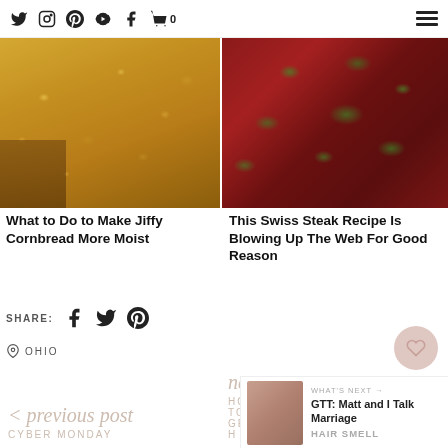social icons: twitter, instagram, pinterest, youtube, facebook, cart (0), hamburger menu
[Figure (photo): Close-up photo of moist jiffy cornbread slice showing golden crumb texture]
[Figure (photo): Swiss steak recipe topped with chopped fresh herbs on a red sauce base]
What to Do to Make Jiffy Cornbread More Moist
This Swiss Steak Recipe Is Blowing Up The Web For Good Reason
SHARE: (facebook icon) (twitter icon) (pinterest icon)
OHIO
< previous post CYBER MONDAY
next HOW TO GET H...
WHAT'S NEXT → GTT: Matt and I Talk Marriage HAIR SMELL